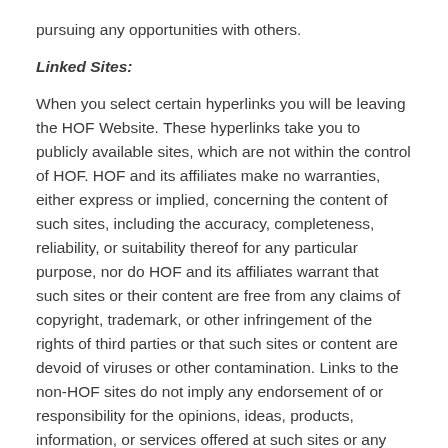pursuing any opportunities with others.
Linked Sites:
When you select certain hyperlinks you will be leaving the HOF Website. These hyperlinks take you to publicly available sites, which are not within the control of HOF. HOF and its affiliates make no warranties, either express or implied, concerning the content of such sites, including the accuracy, completeness, reliability, or suitability thereof for any particular purpose, nor do HOF and its affiliates warrant that such sites or their content are free from any claims of copyright, trademark, or other infringement of the rights of third parties or that such sites or content are devoid of viruses or other contamination. Links to the non-HOF sites do not imply any endorsement of or responsibility for the opinions, ideas, products, information, or services offered at such sites or any representation regarding the content at such